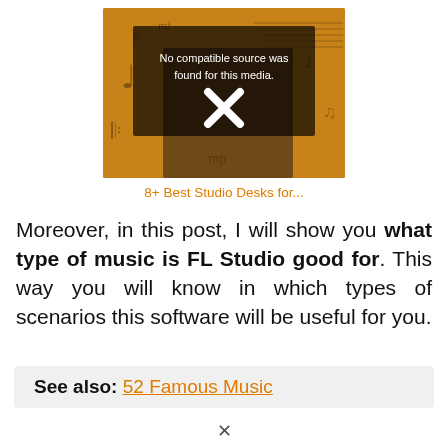[Figure (screenshot): Video player thumbnail showing a music studio scene with a person, overlaid with a dark box containing text 'No compatible source was found for this media.' and a white X icon. Background has musical notes on orange/brown color.]
8+ Best Studio Desks for...
Moreover, in this post, I will show you what type of music is FL Studio good for. This way you will know in which types of scenarios this software will be useful for you.
See also: 52 Famous Music